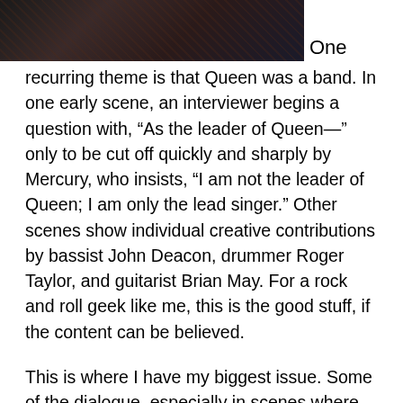[Figure (photo): Photo of people at what appears to be a concert or event, partially cropped at top of page. Dark image with figures visible.]
One recurring theme is that Queen was a band. In one early scene, an interviewer begins a question with, “As the leader of Queen—” only to be cut off quickly and sharply by Mercury, who insists, “I am not the leader of Queen; I am only the lead singer.” Other scenes show individual creative contributions by bassist John Deacon, drummer Roger Taylor, and guitarist Brian May. For a rock and roll geek like me, this is the good stuff, if the content can be believed.
This is where I have my biggest issue. Some of the dialogue, especially in scenes where the band is talking about itself, feel like promo videos for Queen albums. Here’s some made-up dialogue that’s not in the movie, but it could very well have been.
May (to a record label executive): The first single must be